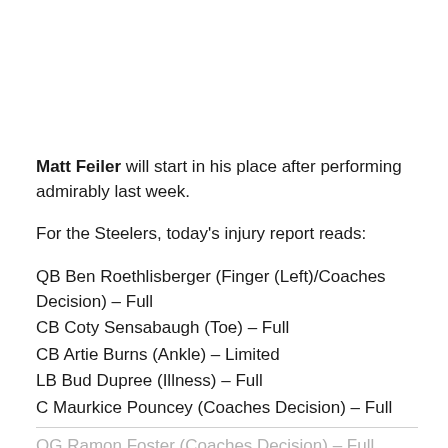Matt Feiler will start in his place after performing admirably last week.
For the Steelers, today's injury report reads:
QB Ben Roethlisberger (Finger (Left)/Coaches Decision) – Full
CB Coty Sensabaugh (Toe) – Full
CB Artie Burns (Ankle) – Limited
LB Bud Dupree (Illness) – Full
C Maurkice Pouncey (Coaches Decision) – Full
OG Ramon Foster (Coaches Decision) – Full
OT Marcus Gilbert (Knee) – DNP